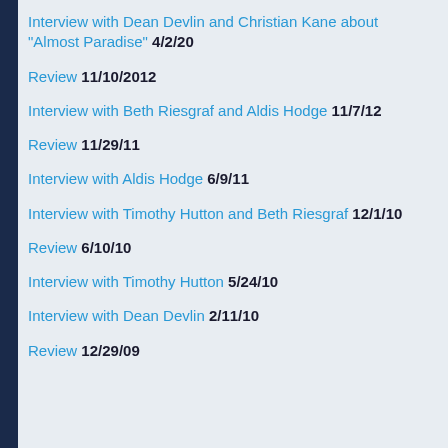Interview with Dean Devlin and Christian Kane about "Almost Paradise" 4/2/20
Review 11/10/2012
Interview with Beth Riesgraf and Aldis Hodge 11/7/12
Review 11/29/11
Interview with Aldis Hodge 6/9/11
Interview with Timothy Hutton and Beth Riesgraf 12/1/10
Review 6/10/10
Interview with Timothy Hutton 5/24/10
Interview with Dean Devlin 2/11/10
Review 12/29/09